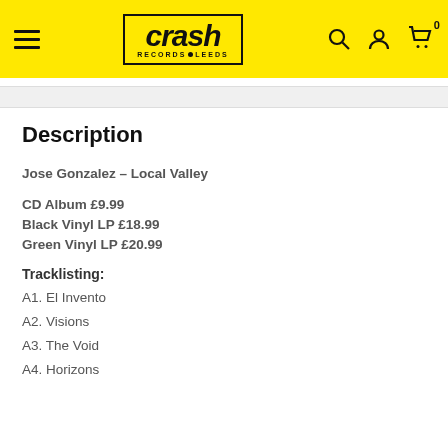crash RECORDS LEEDS
Description
Jose Gonzalez – Local Valley
CD Album £9.99
Black Vinyl LP £18.99
Green Vinyl LP £20.99
Tracklisting:
A1. El Invento
A2. Visions
A3. The Void
A4. Horizons